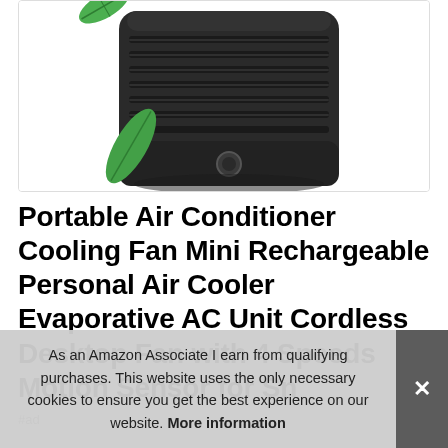[Figure (photo): Portable air conditioner / evaporative cooler device, dark grey/black color with horizontal vents, two green leaves decorating the front, white background]
Portable Air Conditioner Cooling Fan Mini Rechargeable Personal Air Cooler Evaporative AC Unit Cordless Desktop Fan with 4 Speeds Motion Sensor for Sn
#ad
As an Amazon Associate I earn from qualifying purchases. This website uses the only necessary cookies to ensure you get the best experience on our website. More information